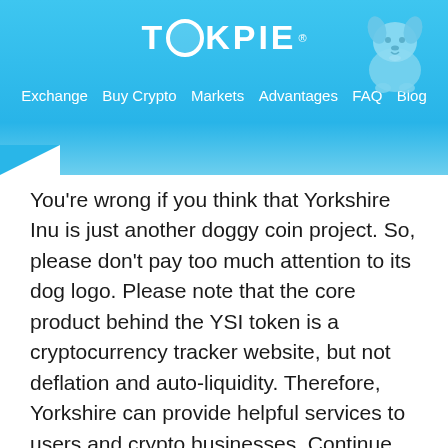TOKPIE — Exchange | Buy Crypto | Markets | Advantages | FAQ | Blog
[Figure (logo): Tokpie logo with dog mascot in blue header navigation bar]
You're wrong if you think that Yorkshire Inu is just another doggy coin project. So, please don't pay too much attention to its dog logo. Please note that the core product behind the YSI token is a cryptocurrency tracker website, but not deflation and auto-liquidity. Therefore, Yorkshire can provide helpful services to users and crypto businesses. Continue reading to learn details about Yorkshire's product and how to trade YSI tokens on the Tokpie exchange.